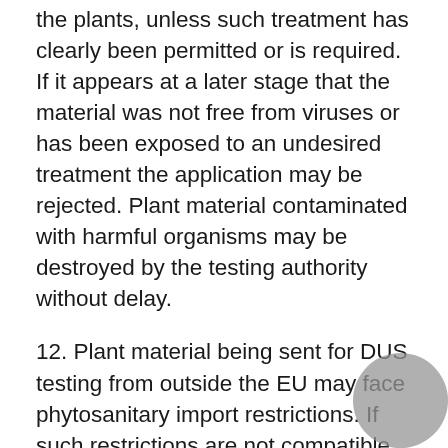the plants, unless such treatment has clearly been permitted or is required. If it appears at a later stage that the material was not free from viruses or has been exposed to an undesired treatment the application may be rejected. Plant material contaminated with harmful organisms may be destroyed by the testing authority without delay.
12. Plant material being sent for DUS testing from outside the EU may face phytosanitary import restrictions. If such restrictions are not compatible with the CPVO's plant material requirements (e.g. treated seed instead of untreated seed as requested by the CPVO, bare rooted plants instead potted plants as requested by the CPVO, etc.), the applicant must contact the CPVO immediately, and before the final date